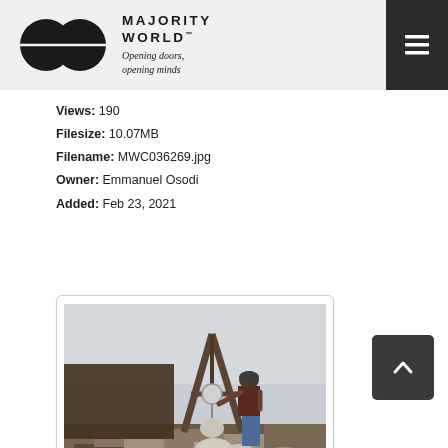MAJORITY WORLD™ — Opening doors, opening minds
Views: 190
Filesize: 10.07MB
Filename: MWC036269.jpg
Owner: Emmanuel Osodi
Added: Feb 23, 2021
[Figure (photo): A worker stands amid debris and rubble, operating a hanging scale/weighing device mounted on an A-frame structure, outdoors in a dusty environment.]